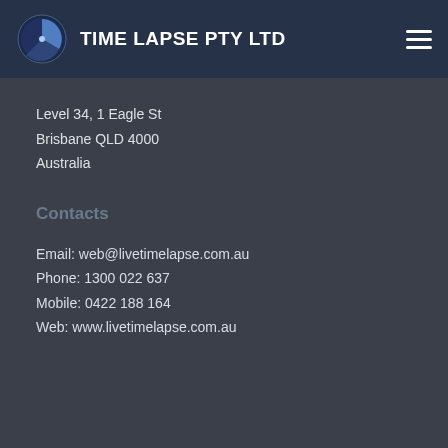TIME LAPSE PTY LTD
Level 34, 1 Eagle St
Brisbane QLD 4000
Australia
Contacts
Email: web@livetimelapse.com.au
Phone: 1300 022 637
Mobile: 0422 188 164
Web: www.livetimelapse.com.au